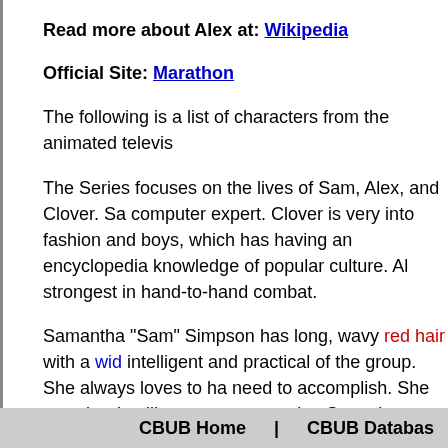Read more about Alex at: Wikipedia
Official Site: Marathon
The following is a list of characters from the animated televis
The Series focuses on the lives of Sam, Alex, and Clover. Sa computer expert. Clover is very into fashion and boys, which has having an encyclopedia knowledge of popular culture. Al strongest in hand-to-hand combat.
Samantha "Sam" Simpson has long, wavy red hair with a wid intelligent and practical of the group. She always loves to ha need to accomplish. She uses her intelligence to create plan Sam also acts as the big sister of the team and like Clover a interested as the others and takes her studies and duties as
As a play on her intelligence, Sam is frequently brainwashed of the three spies. She had a boyfriend James in the episode
CBUB Home | CBUB Databas